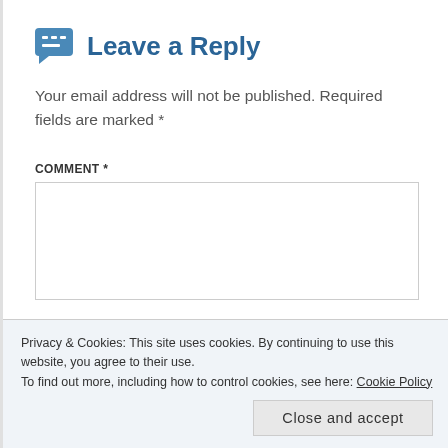Leave a Reply
Your email address will not be published. Required fields are marked *
COMMENT *
[Figure (other): Empty comment text area input box]
Privacy & Cookies: This site uses cookies. By continuing to use this website, you agree to their use.
To find out more, including how to control cookies, see here: Cookie Policy
Close and accept